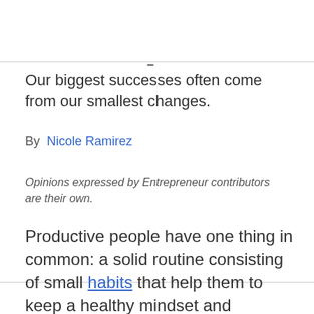Our biggest successes often come from our smallest changes.
By  Nicole Ramirez
Opinions expressed by Entrepreneur contributors are their own.
Productive people have one thing in common: a solid routine consisting of small habits that help them to keep a healthy mindset and